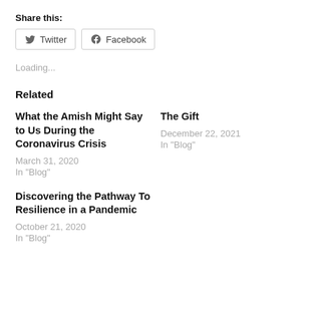Share this:
Twitter  Facebook
Loading...
Related
What the Amish Might Say to Us During the Coronavirus Crisis
March 31, 2020
In "Blog"
Discovering the Pathway To Resilience in a Pandemic
October 21, 2020
In "Blog"
The Gift
December 22, 2021
In "Blog"